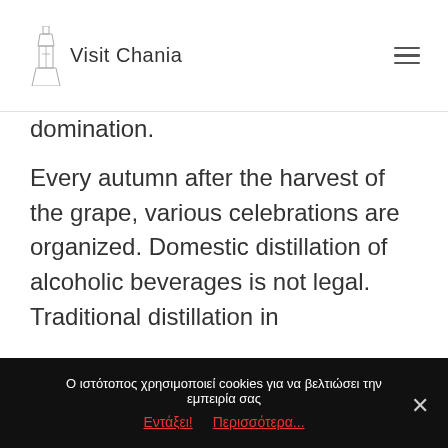Visit Chania
domination.
Every autumn after the harvest of the grape, various celebrations are organized. Domestic distillation of alcoholic beverages is not legal. Traditional distillation in
Ο ιστότοπος χρησιμοποιεί cookies για να βελτιώσει την εμπειρία σας Εντάξει! Περισσότερα...